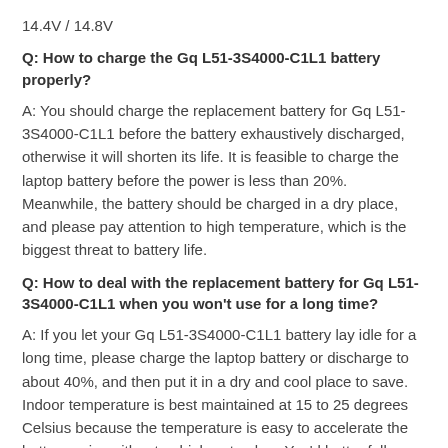14.4V / 14.8V
Q: How to charge the Gq L51-3S4000-C1L1 battery properly?
A: You should charge the replacement battery for Gq L51-3S4000-C1L1 before the battery exhaustively discharged, otherwise it will shorten its life. It is feasible to charge the laptop battery before the power is less than 20%. Meanwhile, the battery should be charged in a dry place, and please pay attention to high temperature, which is the biggest threat to battery life.
Q: How to deal with the replacement battery for Gq L51-3S4000-C1L1 when you won't use for a long time?
A: If you let your Gq L51-3S4000-C1L1 battery lay idle for a long time, please charge the laptop battery or discharge to about 40%, and then put it in a dry and cool place to save. Indoor temperature is best maintained at 15 to 25 degrees Celsius because the temperature is easy to accelerate the battery aging either too high or too low. You'd better fully charge and discharge the battery at least once a month. Finally please save it in accordance with the above method.